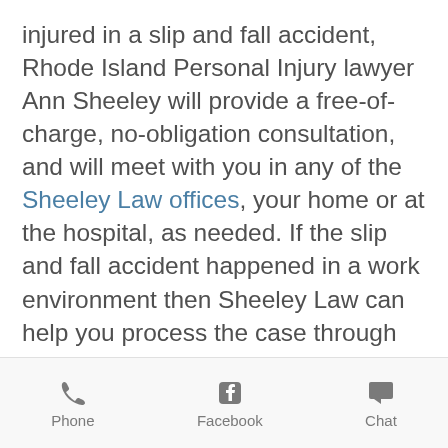injured in a slip and fall accident, Rhode Island Personal Injury lawyer Ann Sheeley will provide a free-of-charge, no-obligation consultation, and will meet with you in any of the Sheeley Law offices, your home or at the hospital, as needed. If the slip and fall accident happened in a work environment then Sheeley Law can help you process the case through the Rhode Island Workers' Compensation or Massachusetts Workers' Compensation systems.

If negligence is determined and there are grounds for a claim, Attorney Ann
Phone | Facebook | Chat